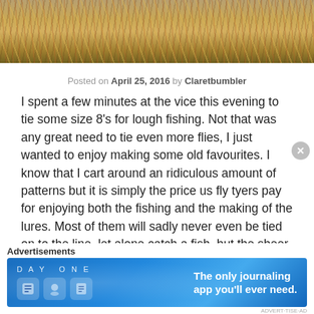[Figure (photo): Close-up photo of colorful fishing fly tying materials — threads and fibers in red, yellow, green, blue and other colors against a warm brown background]
Posted on April 25, 2016 by Claretbumbler
I spent a few minutes at the vice this evening to tie some size 8's for lough fishing. Not that was any great need to tie even more flies, I just wanted to enjoy making some old favourites. I know that I cart around an ridiculous amount of patterns but it is simply the price us fly tyers pay for enjoying both the fishing and the making of the lures. Most of them will sadly never even be tied on to the line, let alone catch a fish, but the sheer enjoyment of sitting at the
Advertisements
[Figure (screenshot): DAY ONE app advertisement banner — blue gradient background with app icons and tagline 'The only journaling app you'll ever need.']